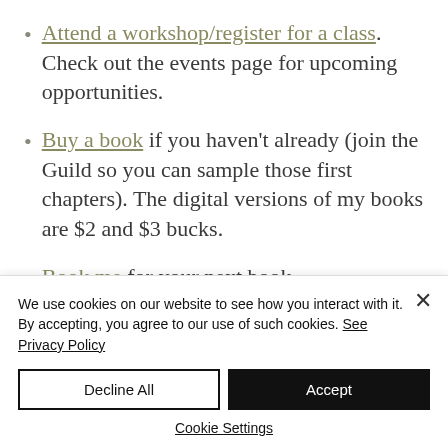Attend a workshop/register for a class. Check out the events page for upcoming opportunities.
Buy a book if you haven't already (join the Guild so you can sample those first chapters). The digital versions of my books are $2 and $3 bucks.
Book me for your next book-
We use cookies on our website to see how you interact with it. By accepting, you agree to our use of such cookies. See Privacy Policy
Decline All
Accept
Cookie Settings